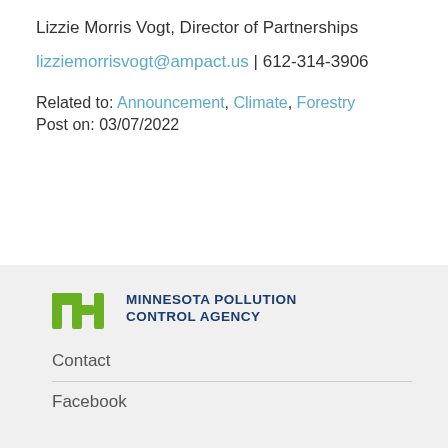Lizzie Morris Vogt, Director of Partnerships
lizziemorrisvogt@ampact.us | 612-314-3906
Related to: Announcement, Climate, Forestry
Post on: 03/07/2022
[Figure (other): Navigation buttons: left double-arrow (‹‹) and right double-arrow (››)]
[Figure (logo): Minnesota Pollution Control Agency logo with green stylized M and bold navy text]
Contact
Facebook